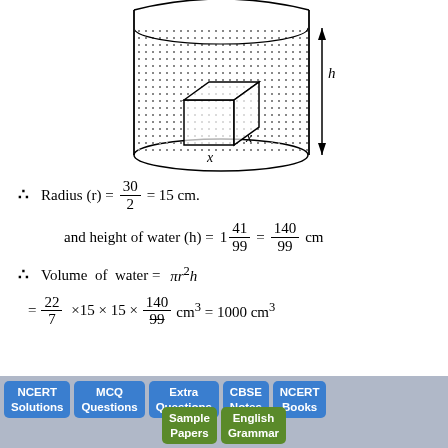[Figure (engineering-diagram): A cylinder with water (shown by dotted fill) containing a cube submerged inside. The cube has side label 'x' on two visible sides. The cylinder has a height arrow labeled 'h' on the right side.]
NCERT Solutions | MCQ Questions | Extra Questions | CBSE Notes | NCERT Books | Sample Papers | English Grammar